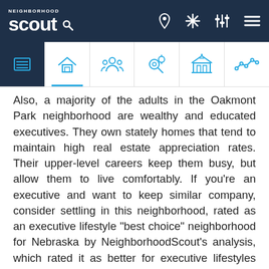NeighborhoodScout navigation header
Also, a majority of the adults in the Oakmont Park neighborhood are wealthy and educated executives. They own stately homes that tend to maintain high real estate appreciation rates. Their upper-level careers keep them busy, but allow them to live comfortably. If you're an executive and want to keep similar company, consider settling in this neighborhood, rated as an executive lifestyle "best choice" neighborhood for Nebraska by NeighborhoodScout's analysis, which rated it as better for executive lifestyles than 96.2% of the neighborhoods in Nebraska, in addition to being